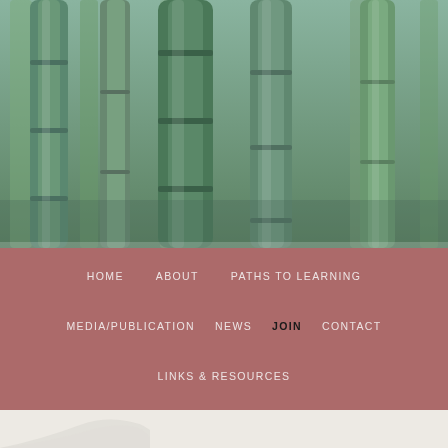[Figure (photo): Bamboo stalks in green and blue-green tones filling the upper portion of the page as a decorative header image]
HOME   ABOUT   PATHS TO LEARNING   MEDIA/PUBLICATION   NEWS   JOIN   CONTACT   LINKS & RESOURCES
Becoming a Member
[Figure (photo): Partial view of a white lamp shade and decorative vase against a light cream/beige background]